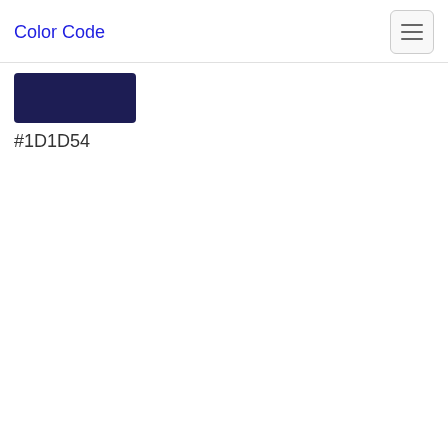Color Code
[Figure (other): A dark navy blue color swatch rectangle with hex code #1D1D54 displayed below it]
#1D1D54